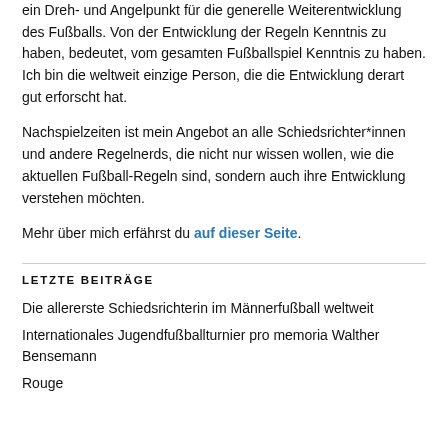ein Dreh- und Angelpunkt für die generelle Weiterentwicklung des Fußballs. Von der Entwicklung der Regeln Kenntnis zu haben, bedeutet, vom gesamten Fußballspiel Kenntnis zu haben. Ich bin die weltweit einzige Person, die die Entwicklung derart gut erforscht hat.
Nachspielzeiten ist mein Angebot an alle Schiedsrichter*innen und andere Regelnerds, die nicht nur wissen wollen, wie die aktuellen Fußball-Regeln sind, sondern auch ihre Entwicklung verstehen möchten.
Mehr über mich erfährst du auf dieser Seite.
LETZTE BEITRÄGE
Die allererste Schiedsrichterin im Männerfußball weltweit
Internationales Jugendfußballturnier pro memoria Walther Bensemann
Rouge